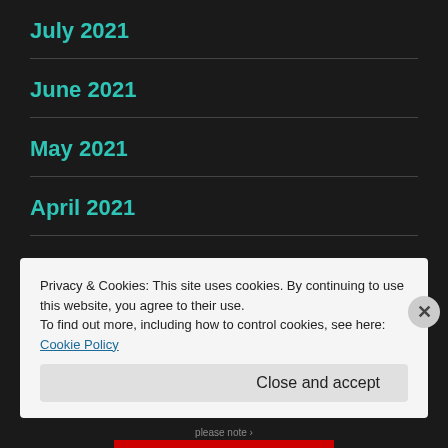July 2021
June 2021
May 2021
April 2021
March 2021
February 2021
Privacy & Cookies: This site uses cookies. By continuing to use this website, you agree to their use.
To find out more, including how to control cookies, see here: Cookie Policy
Close and accept